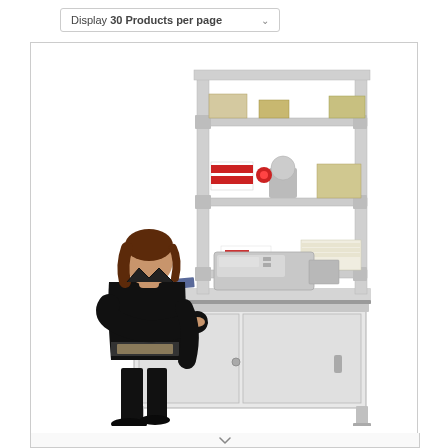Display 30 Products per page
[Figure (photo): A woman in black clothing standing at an industrial packing/mailroom workstation with a light grey metal cabinet base, grey work surface with a franking machine on top, and an overhead shelving unit on an aluminium frame holding boxes, tape dispensers, and other mailroom supplies. The woman is reaching toward the bottom shelf of the overhead unit.]